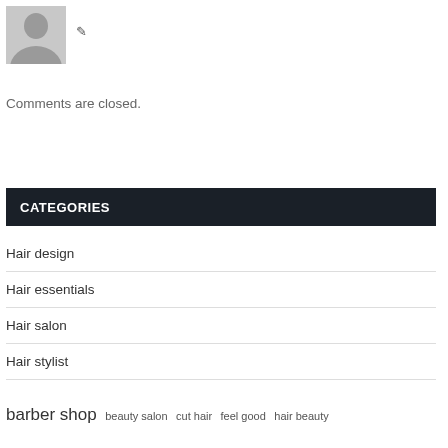[Figure (illustration): Gray placeholder avatar icon of a person silhouette]
Comments are closed.
CATEGORIES
Hair design
Hair essentials
Hair salon
Hair stylist
barber shop  beauty salon  cut hair  feel good  hair beauty